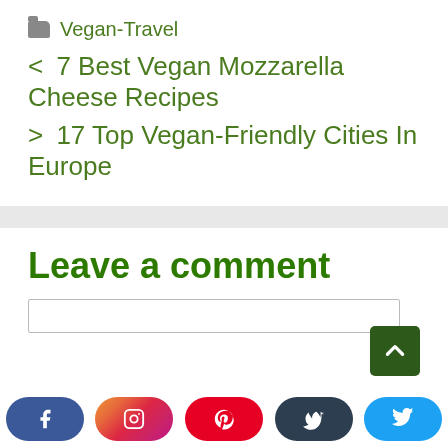📁 Vegan-Travel
< 7 Best Vegan Mozzarella Cheese Recipes
> 17 Top Vegan-Friendly Cities In Europe
Leave a comment
[Figure (screenshot): Comment input text area box]
[Figure (infographic): Social media share buttons: Facebook, Instagram, Pinterest, Tumblr, Twitter]